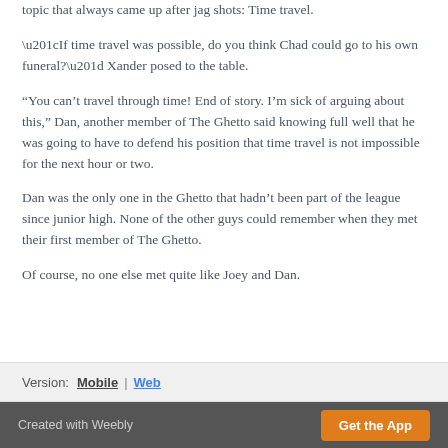topic that always came up after jag shots: Time travel.
“If time travel was possible, do you think Chad could go to his own funeral?” Xander posed to the table.
“You can’t travel through time! End of story. I’m sick of arguing about this,” Dan, another member of The Ghetto said knowing full well that he was going to have to defend his position that time travel is not impossible for the next hour or two.
Dan was the only one in the Ghetto that hadn’t been part of the league since junior high. None of the other guys could remember when they met their first member of The Ghetto.
Of course, no one else met quite like Joey and Dan.
Version: Mobile | Web
Created with Weebly  Get the App